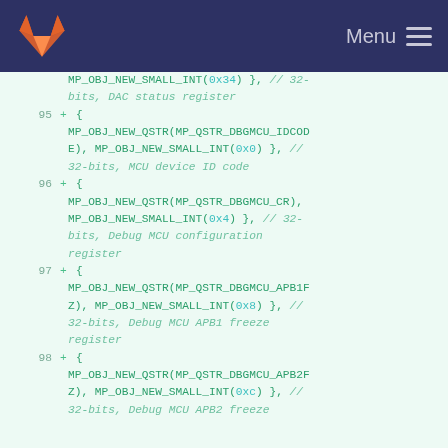Menu
MP_OBJ_NEW_SMALL_INT(0x34) }, // 32-bits, DAC status register
95 + {
MP_OBJ_NEW_QSTR(MP_QSTR_DBGMCU_IDCODE), MP_OBJ_NEW_SMALL_INT(0x0) }, // 32-bits, MCU device ID code
96 + {
MP_OBJ_NEW_QSTR(MP_QSTR_DBGMCU_CR), MP_OBJ_NEW_SMALL_INT(0x4) }, // 32-bits, Debug MCU configuration register
97 + {
MP_OBJ_NEW_QSTR(MP_QSTR_DBGMCU_APB1FZ), MP_OBJ_NEW_SMALL_INT(0x8) }, // 32-bits, Debug MCU APB1 freeze register
98 + {
MP_OBJ_NEW_QSTR(MP_QSTR_DBGMCU_APB2FZ), MP_OBJ_NEW_SMALL_INT(0xc) }, // 32-bits, Debug MCU APB2 freeze